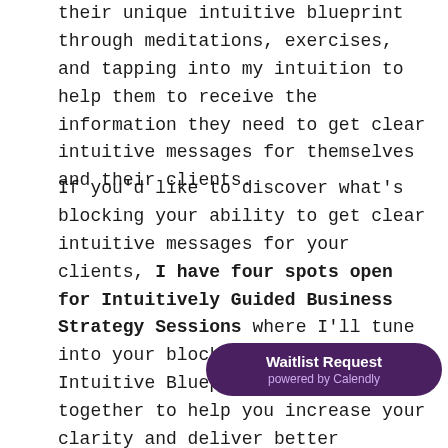their unique intuitive blueprint through meditations, exercises, and tapping into my intuition to help them to receive the information they need to get clear intuitive messages for themselves and their clients.
If you'd like to discover what's blocking your ability to get clear intuitive messages for your clients, I have four spots open for Intuitively Guided Business Strategy Sessions where I'll tune into your blocks and your Unique Intuitive Blueprint and work together to help you increase your clarity and deliver better feedback in your sessions. To grab a spot, or schedule a free clarity call to get to
[Figure (other): Waitlist Request powered by Calendly badge - dark purple rounded pill button]